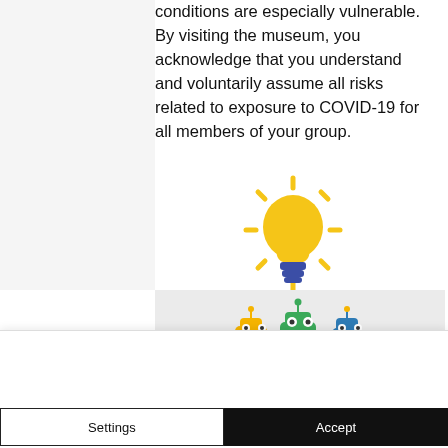conditions are especially vulnerable. By visiting the museum, you acknowledge that you understand and voluntarily assume all risks related to exposure to COVID-19 for all members of your group.
[Figure (illustration): Yellow lightbulb emoji with sun rays radiating outward, blue base]
[Figure (illustration): Three small cartoon robot characters: yellow, green, and blue]
We use cookies on our website to see how you interact with it. By accepting, you agree to our use of such cookies. Privacy Policy